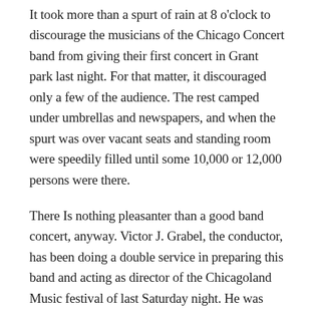It took more than a spurt of rain at 8 o'clock to discourage the musicians of the Chicago Concert band from giving their first concert in Grant park last night. For that matter, it discouraged only a few of the audience. The rest camped under umbrellas and newspapers, and when the spurt was over vacant seats and standing room were speedily filled until some 10,000 or 12,000 persons were there.
There Is nothing pleasanter than a good band concert, anyway. Victor J. Grabel, the conductor, has been doing a double service in preparing this band and acting as director of the Chicagoland Music festival of last Saturday night. He was highly competent in both jobs. You have already heard of the festival. The Chicago Concert band is also something in which to take pride.